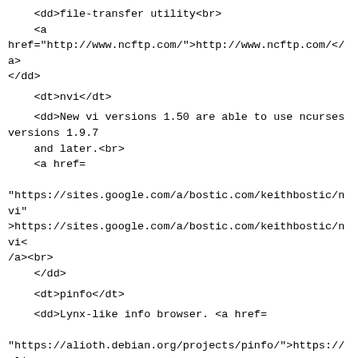<dd>file-transfer utility<br>
    <a
href="http://www.ncftp.com/">http://www.ncftp.com/</a>
</dd>
<dt>nvi</dt>
<dd>New vi versions 1.50 are able to use ncurses versions 1.9.7
    and later.<br>
    <a href=

"https://sites.google.com/a/bostic.com/keithbostic/nvi"
>https://sites.google.com/a/bostic.com/keithbostic/nvi<
/a><br>
    </dd>
<dt>pinfo</dt>
<dd>Lynx-like info browser. <a href=

"https://alioth.debian.org/projects/pinfo/">https://ali
oth.debian.org/projects/pinfo/</a></dd>
<dt>tin</dt>
<dd>newsreader, supporting color, MIME <a href=
    "http://www.tin.org/">http://www.tin.org/</a></dd>
  </dl>as well as some that use ncurses for the
terminfo support